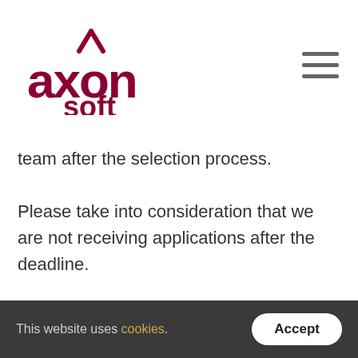axon soft
team after the selection process.
Please take into consideration that we are not receiving applications after the deadline.
6. What happens if I have more questions about the internship?
This website uses cookies. Accept